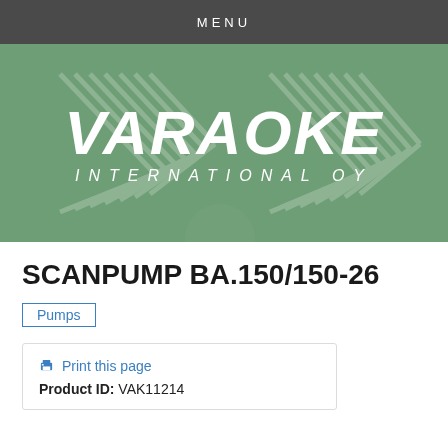MENU
[Figure (logo): Varaoke International Oy logo on green background with decorative V watermark stripe pattern]
SCANPUMP BA.150/150-26
Pumps
Print this page
Product ID: VAK11214